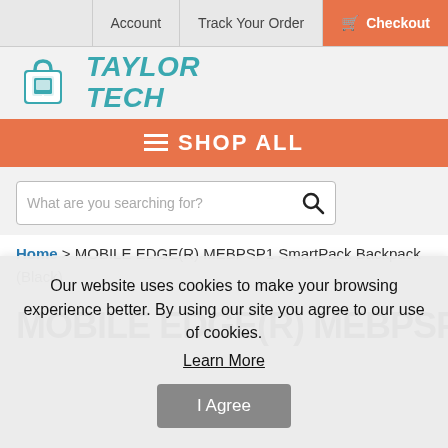Account | Track Your Order | Checkout
[Figure (logo): Taylor Tech logo with teal shopping bag icon and bold italic teal text reading TAYLOR TECH]
≡ SHOP ALL
What are you searching for?
Home > MOBILE EDGE(R) MEBPSP1 SmartPack Backpack (Black)
MOBILE EDGE(R) MEBPSP1
Our website uses cookies to make your browsing experience better. By using our site you agree to our use of cookies.
Learn More
I Agree